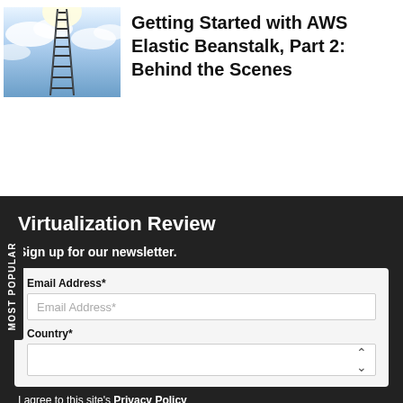[Figure (photo): Photo of a ladder or stairway extending upward into clouds and sky with bright light above]
Getting Started with AWS Elastic Beanstalk, Part 2: Behind the Scenes
Virtualization Review
Sign up for our newsletter.
Email Address*
Email Address*
Country*
I agree to this site's Privacy Policy
MOST POPULAR